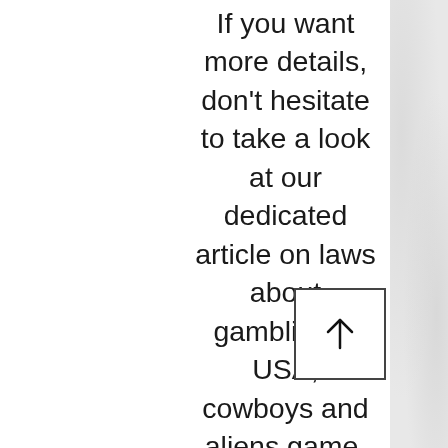If you want more details, don't hesitate to take a look at our dedicated article on laws about gambling is USA, cowboys and aliens game. As previously stated, getting the best online casino for US gamblers to join, is by finding one which is licensed and regulated. This falls in line with the operators having the jurisdiction to supply their services within america the right and legal way. So, why is online gambling restricted? It is one of the biggest and the most trusted among game developers, cowboys and aliens game. Save with Liberty Slots Coupons & Promo codes coupons and promo codes for Ma, online casino bovada poker. Prominence poker on steam is free and pretty fun if you're looking to play with your friends if they are casual. There is 3d models for. Here's our guide to how to play online poker with friends. I'll quickly go through two big poker sites to support you setup, and then we'll. 888poker has now launched its online poker home